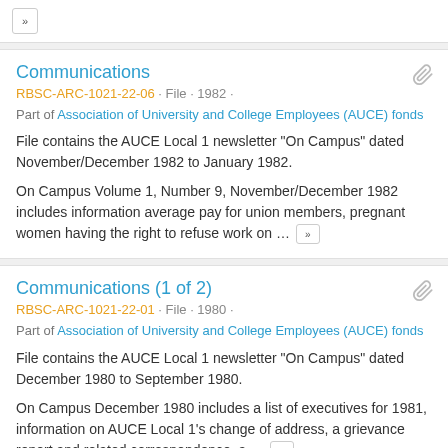Communications
RBSC-ARC-1021-22-06 · File · 1982 ·
Part of Association of University and College Employees (AUCE) fonds
File contains the AUCE Local 1 newsletter "On Campus" dated November/December 1982 to January 1982.
On Campus Volume 1, Number 9, November/December 1982 includes information average pay for union members, pregnant women having the right to refuse work on …
Communications (1 of 2)
RBSC-ARC-1021-22-01 · File · 1980 ·
Part of Association of University and College Employees (AUCE) fonds
File contains the AUCE Local 1 newsletter "On Campus" dated December 1980 to September 1980.
On Campus December 1980 includes a list of executives for 1981, information on AUCE Local 1's change of address, a grievance report and related correspondence, a …